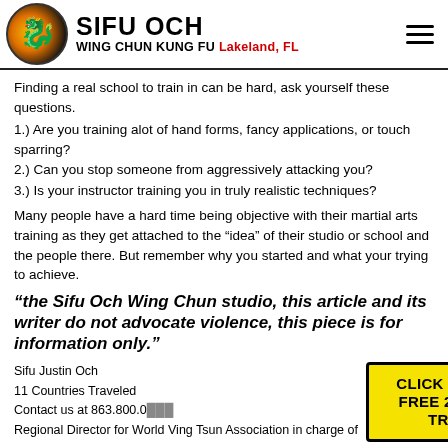SIFU OCH WING CHUN KUNG FU Lakeland, FL
Finding a real school to train in can be hard, ask yourself these questions.
1.) Are you training alot of hand forms, fancy applications, or touch sparring?
2.) Can you stop someone from aggressively attacking you?
3.) Is your instructor training you in truly realistic techniques?
Many people have a hard time being objective with their martial arts training as they get attached to the “idea” of their studio or school and the people there. But remember why you started and what your trying to achieve.
“the Sifu Och Wing Chun studio, this article and its writer do not advocate violence, this piece is for information only.”
Sifu Justin Och
11 Countries Traveled
Contact us at 863.800.0__
Regional Director for World Ving Tsun Association in charge of